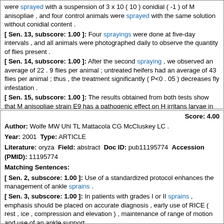were sprayed with a suspension of 3 x 10 ( 10 ) conidial ( -1 ) of M anisopliae , and four control animals were sprayed with the same solution without conidial content .
[ Sen. 13, subscore: 1.00 ]: Four sprayings were done at five-day intervals , and all animals were photographed daily to observe the quantity of flies present .
[ Sen. 14, subscore: 1.00 ]: After the second spraying , we observed an average of 22 . 9 flies per animal ; untreated heifers had an average of 43 flies per animal ; thus , the treatment significantly ( P<0 . 05 ) decreases fly infestation .
[ Sen. 15, subscore: 1.00 ]: The results obtained from both tests show that M anisopliae strain E9 has a pathogenic effect on H irritans larvae in bovine manure when administered orally and on adult fly infestations when applied as a spray on the hosts .
Score: 4.00
Author: Wolfe MW Uhl TL Mattacola CG McCluskey LC .
Year: 2001 Type: ARTICLE
Literature: oryza Field: abstract Doc ID: pub11195774 Accession (PMID): 11195774
Matching Sentences:
[ Sen. 2, subscore: 1.00 ]: Use of a standardized protocol enhances the management of ankle sprains .
[ Sen. 3, subscore: 1.00 ]: In patients with grades I or II sprains , emphasis should be placed on accurate diagnosis , early use of RICE ( rest , ice , compression and elevation ) , maintenance of range of motion and use of an ankle support .
[ Sen. 4, subscore: 1.00 ]: Sprains with complete ligament [ corrected ] tears ( grade III ) may require surgical intervention .